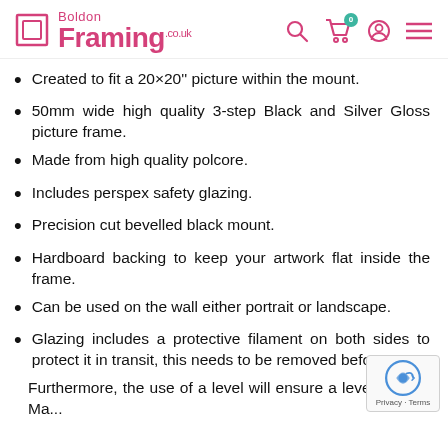[Figure (logo): Boldon Framing co.uk logo with pink text and a square frame icon]
Created to fit a 20×20'' picture within the mount.
50mm wide high quality 3-step Black and Silver Gloss picture frame.
Made from high quality polcore.
Includes perspex safety glazing.
Precision cut bevelled black mount.
Hardboard backing to keep your artwork flat inside the frame.
Can be used on the wall either portrait or landscape.
Glazing includes a protective filament on both sides to protect it in transit, this needs to be removed before use.
Furthermore, the use of a level will ensure a level picture. Ma...